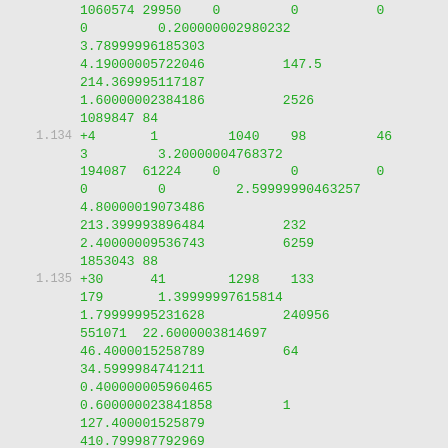1060574 29950    0         0          0
0         0.200000002980232
3.78999996185303
4.19000005722046          147.5
214.369995117187
1.60000002384186          2526
1089847 84
1.134  +4       1         1040    98         46
3         3.20000004768372
194087  61224    0         0          0
0         0         2.59999990463257
4.80000019073486
213.399993896484          232
2.40000009536743          6259
1853043 88
1.135  +30      41        1298    133
179       1.39999997615814
1.79999995231628          240956
551071  22.6000003814697
46.4000015258789          64
34.5999984741211
0.400000005960465
0.600000023841858         1
127.400001525879
410.799987792969
1.79999995231628          845
1723450 79
1.136  +1       1         201     28         20
0.200000002980232
0.200000002980232         21164
4068    0         0         0          0